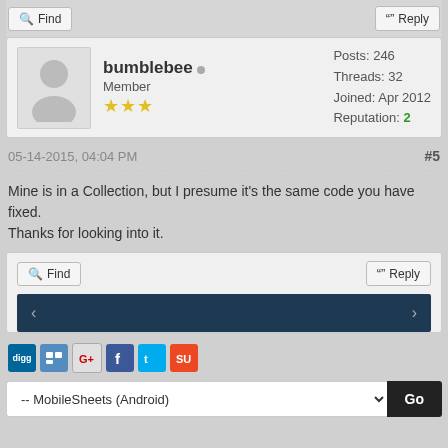[Figure (screenshot): Forum post UI with Find and Reply buttons at top]
bumblebee  Member ★★★  Posts: 246  Threads: 32  Joined: Apr 2012  Reputation: 2
05-14-2015, 04:04 PM  #5
Mine is in a Collection, but I presume it's the same code you have fixed.
Thanks for looking into it.
Find  Reply  < >
[Figure (screenshot): Social sharing icons: digg, delicious, google, facebook, twitter, stumbleupon]
-- MobileSheets (Android)  Go